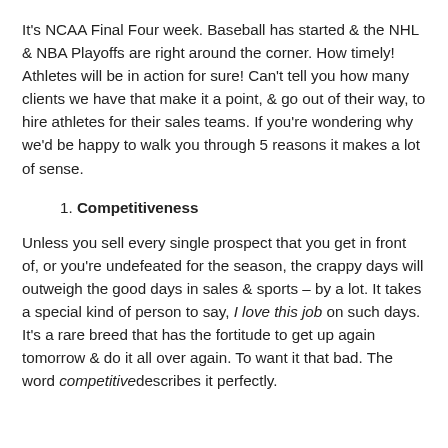It's NCAA Final Four week. Baseball has started & the NHL & NBA Playoffs are right around the corner. How timely! Athletes will be in action for sure! Can't tell you how many clients we have that make it a point, & go out of their way, to hire athletes for their sales teams. If you're wondering why we'd be happy to walk you through 5 reasons it makes a lot of sense.
1. Competitiveness
Unless you sell every single prospect that you get in front of, or you're undefeated for the season, the crappy days will outweigh the good days in sales & sports – by a lot. It takes a special kind of person to say, I love this job on such days. It's a rare breed that has the fortitude to get up again tomorrow & do it all over again. To want it that bad. The word competitive describes it perfectly.